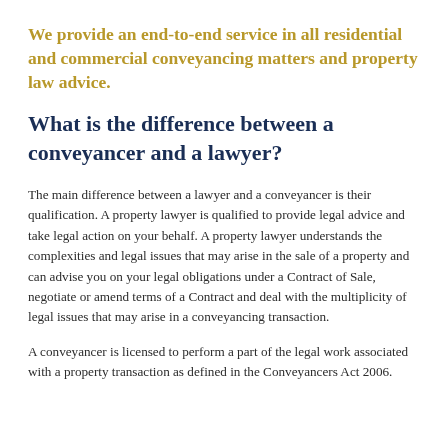We provide an end-to-end service in all residential and commercial conveyancing matters and property law advice.
What is the difference between a conveyancer and a lawyer?
The main difference between a lawyer and a conveyancer is their qualification. A property lawyer is qualified to provide legal advice and take legal action on your behalf. A property lawyer understands the complexities and legal issues that may arise in the sale of a property and can advise you on your legal obligations under a Contract of Sale, negotiate or amend terms of a Contract and deal with the multiplicity of legal issues that may arise in a conveyancing transaction.
A conveyancer is licensed to perform a part of the legal work associated with a property transaction as defined in the Conveyancers Act 2006.